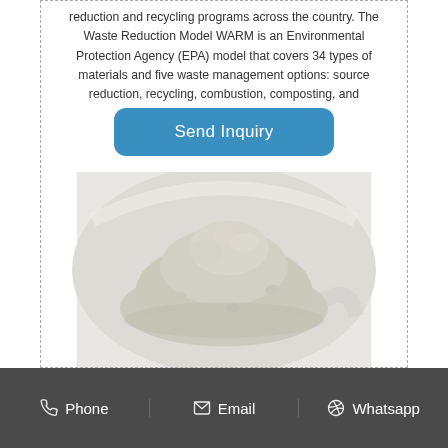reduction and recycling programs across the country. The Waste Reduction Model WARM is an Environmental Protection Agency (EPA) model that covers 34 types of materials and five waste management options: source reduction, recycling, combustion, composting, and landfilling.
[Figure (other): Blue rounded rectangle button labeled 'Send Inquiry']
[Figure (photo): A pile of fine white/beige powder (likely industrial mineral powder) on a light grey circular plate surface]
Phone   Email   Whatsapp